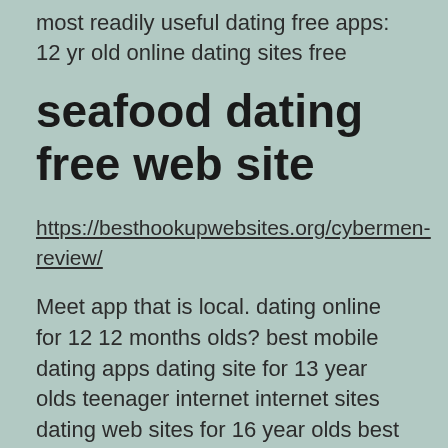most readily useful dating free apps: 12 yr old online dating sites free
seafood dating free web site
https://besthookupwebsites.org/cybermen-review/
Meet app that is local. dating online for 12 12 months olds? best mobile dating apps dating site for 13 year olds teenager internet internet sites dating web sites for 16 year olds best free online dating sites apps 10-12 yr old internet